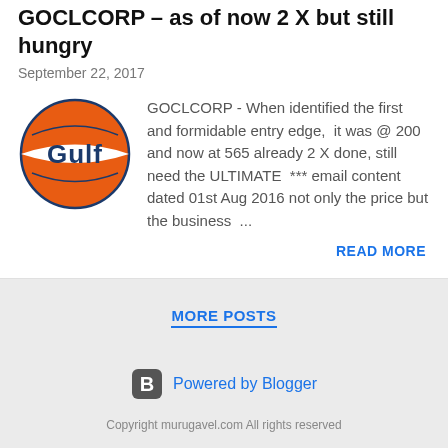GOCLCORP – as of now 2 X but still hungry
September 22, 2017
[Figure (logo): Gulf Oil logo: orange circle with white band and dark blue 'Gulf' text]
GOCLCORP - When identified the first and formidable entry edge,  it was @ 200 and now at 565 already 2 X done, still need the ULTIMATE  *** email content dated 01st Aug 2016 not only the price but the business ...
READ MORE
MORE POSTS
[Figure (logo): Blogger icon: dark rounded square with 'B' letter]
Powered by Blogger
Copyright murugavel.com All rights reserved